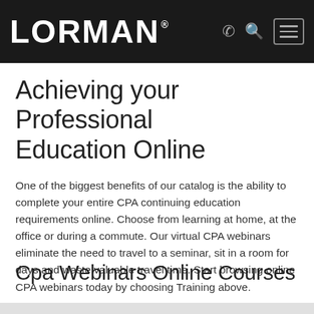LORMAN
Achieving your Professional Education Online
One of the biggest benefits of our catalog is the ability to complete your entire CPA continuing education requirements online. Choose from learning at home, at the office or during a commute. Our virtual CPA webinars eliminate the need to travel to a seminar, sit in a room for days and waste valuable travel time. Start browsing online CPA webinars today by choosing Training above.
Cpa Webinars Online Courses